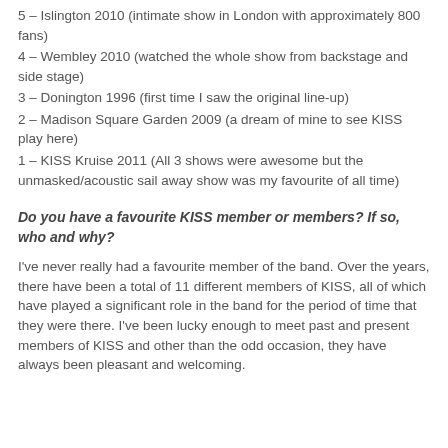5 – Islington 2010 (intimate show in London with approximately 800 fans)
4 – Wembley 2010 (watched the whole show from backstage and side stage)
3 – Donington 1996 (first time I saw the original line-up)
2 – Madison Square Garden 2009 (a dream of mine to see KISS play here)
1 – KISS Kruise 2011 (All 3 shows were awesome but the unmasked/acoustic sail away show was my favourite of all time)
Do you have a favourite KISS member or members? If so, who and why?
I've never really had a favourite member of the band. Over the years, there have been a total of 11 different members of KISS, all of which have played a significant role in the band for the period of time that they were there. I've been lucky enough to meet past and present members of KISS and other than the odd occasion, they have always been pleasant and welcoming.